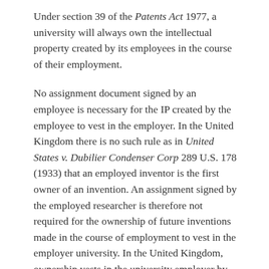Under section 39 of the Patents Act 1977, a university will always own the intellectual property created by its employees in the course of their employment.
No assignment document signed by an employee is necessary for the IP created by the employee to vest in the employer. In the United Kingdom there is no such rule as in United States v. Dubilier Condenser Corp 289 U.S. 178 (1933) that an employed inventor is the first owner of an invention. An assignment signed by the employed researcher is therefore not required for the ownership of future inventions made in the course of employment to vest in the employer university. In the United Kingdom, ownership vests in the university employer by virtue of the employment relationship. If the scenario in Stanford University v. Roche Molecular Systems, Inc., 563 U.S. 776 (2011) had occurred in the United Kingdom, the university would have clearly owned the invention, since the work